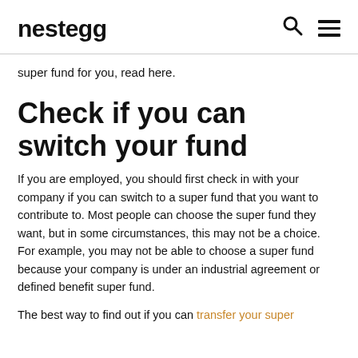nestegg
super fund for you, read here.
Check if you can switch your fund
If you are employed, you should first check in with your company if you can switch to a super fund that you want to contribute to. Most people can choose the super fund they want, but in some circumstances, this may not be a choice. For example, you may not be able to choose a super fund because your company is under an industrial agreement or defined benefit super fund.
The best way to find out if you can transfer your super